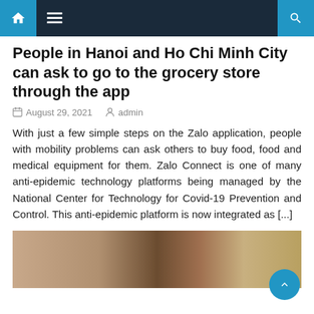Navigation bar with home, menu, and search icons
People in Hanoi and Ho Chi Minh City can ask to go to the grocery store through the app
August 29, 2021   admin
With just a few simple steps on the Zalo application, people with mobility problems can ask others to buy food, food and medical equipment for them. Zalo Connect is one of many anti-epidemic technology platforms being managed by the National Center for Technology for Covid-19 Prevention and Control. This anti-epidemic platform is now integrated as [...]
[Figure (photo): Blurred photo showing a person's face and hand against a beige/dark background]